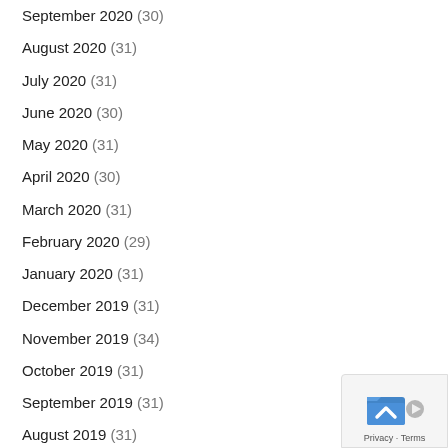September 2020 (30)
August 2020 (31)
July 2020 (31)
June 2020 (30)
May 2020 (31)
April 2020 (30)
March 2020 (31)
February 2020 (29)
January 2020 (31)
December 2019 (31)
November 2019 (34)
October 2019 (31)
September 2019 (31)
August 2019 (31)
[Figure (logo): Privacy badge with blue icon and Privacy · Terms text]